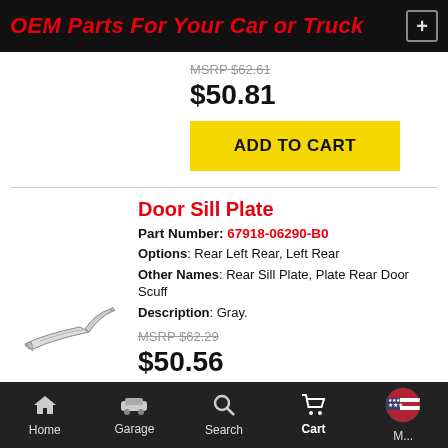OEM Parts For Your Car or Truck
MSRP $62.61
$50.81
ADD TO CART
Door Sill Plate
Part Number: 67918-06290-B0
Options: Rear Left Rear, Left Rear
Other Names: Rear Sill Plate, Plate Rear Door Scuff
Description: Gray.
MSRP $62.29
$50.56
ADD TO CART
Home  Garage  Search  Cart  M...